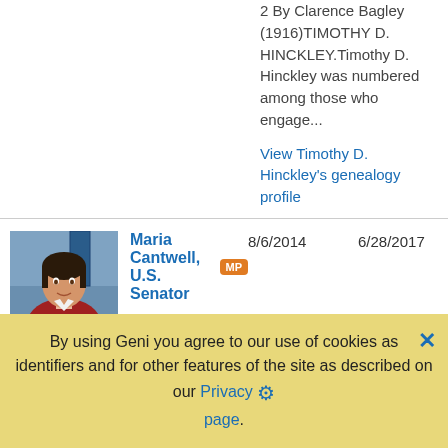2 By Clarence Bagley (1916)TIMOTHY D. HINCKLEY.Timothy D. Hinckley was numbered among those who engage...
View Timothy D. Hinckley's genealogy profile
[Figure (photo): Photo of Maria Cantwell, U.S. Senator - woman with dark hair wearing a red jacket]
Maria Cantwell, U.S. Senator
8/6/2014
6/28/2017
Maria Elaine Cantwell (born October 13, 1958) is the junior United States Senator from the state of Washington, serving
By using Geni you agree to our use of cookies as identifiers and for other features of the site as described on our Privacy page.